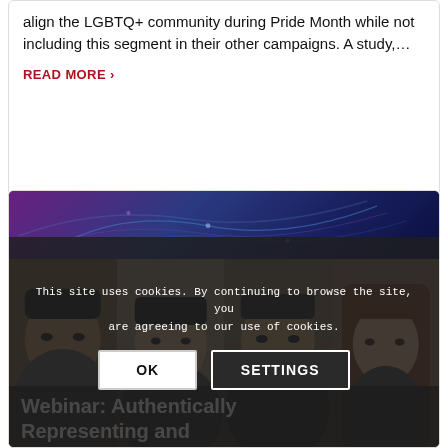align the LGBTQ+ community during Pride Month while not including this segment in their other campaigns. A study,…
READ MORE >
[Figure (photo): Webinar card with dark blue/purple banner at top, four Asian faces in a photo strip, a cookie consent overlay with OK and SETTINGS buttons, and a partial webinar title at the bottom.]
This site uses cookies. By continuing to browse the site, you are agreeing to our use of cookies.
OK
SETTINGS
Webinar: Authentically Representing and